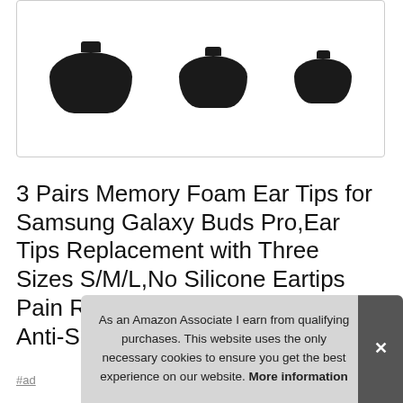[Figure (photo): Three black memory foam ear tips of different sizes (large, medium, small) displayed against a white background inside a bordered product image box.]
3 Pairs Memory Foam Ear Tips for Samsung Galaxy Buds Pro,Ear Tips Replacement with Three Sizes S/M/L,No Silicone Eartips Pain Reducing Noise Earbuds Anti-Slip Re
As an Amazon Associate I earn from qualifying purchases. This website uses the only necessary cookies to ensure you get the best experience on our website. More information
#ad